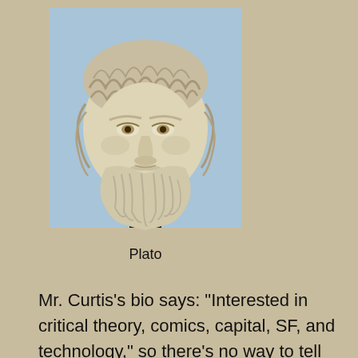[Figure (photo): Marble bust sculpture of Plato showing his bearded face and curly hair against a light blue background, mounted on a dark pedestal.]
Plato
Mr. Curtis’s bio says: “Interested in critical theory, comics, capital, SF, and technology,” so there’s no way to tell what his background in philosophy or